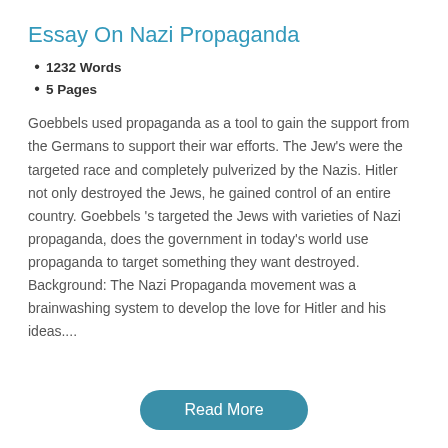Essay On Nazi Propaganda
1232 Words
5 Pages
Goebbels used propaganda as a tool to gain the support from the Germans to support their war efforts. The Jew's were the targeted race and completely pulverized by the Nazis. Hitler not only destroyed the Jews, he gained control of an entire country. Goebbels 's targeted the Jews with varieties of Nazi propaganda, does the government in today's world use propaganda to target something they want destroyed. Background: The Nazi Propaganda movement was a brainwashing system to develop the love for Hitler and his ideas....
Read More